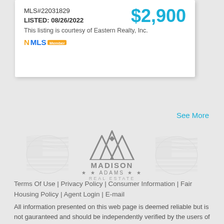MLS#22031829
LISTED: 08/26/2022
$2,900
This listing is courtesy of Eastern Realty, Inc.
[Figure (logo): NMLS logo]
See More
[Figure (logo): Madison Adams Real Estate logo with mountain peaks and American flag watermarks]
Terms Of Use | Privacy Policy | Consumer Information | Fair Housing Policy | Agent Login | E-mail
All information presented on this web page is deemed reliable but is not gauranteed and should be independently verified by the users of this site.